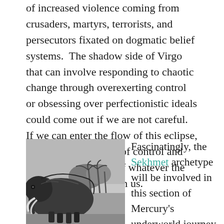of increased violence coming from crusaders, martyrs, terrorists, and persecutors fixated on dogmatic belief systems.  The shadow side of Virgo that can involve responding to chaotic change through overexerting control or obsessing over perfectionistic ideals could come out if we are not careful.  If we can enter the flow of this eclipse, we can instead let go of control and enter the pure space of whatever the moment is asking from us.
[Figure (photo): Black and white photograph of a mammoth (or similar large prehistoric animal) with tusks, palm trees and landscape in the background.]
Fascinatingly, the Sekhmet archetype will be involved in this section of Mercury's underworld journey as